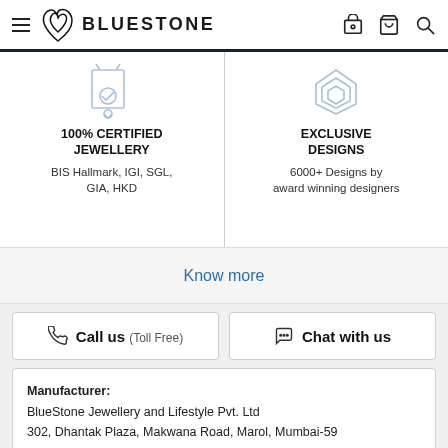BLUESTONE
[Figure (illustration): Certificate/medal icon for 100% Certified Jewellery]
100% CERTIFIED JEWELLERY
BIS Hallmark, IGI, SGL, GIA, HKD
[Figure (illustration): Diamond/gem icon for Exclusive Designs]
EXCLUSIVE DESIGNS
6000+ Designs by award winning designers
Know more
Call us (Toll Free)
Chat with us
Manufacturer:
BlueStone Jewellery and Lifestyle Pvt. Ltd
302, Dhantak Plaza, Makwana Road, Marol, Mumbai-59

Country of Origin: India